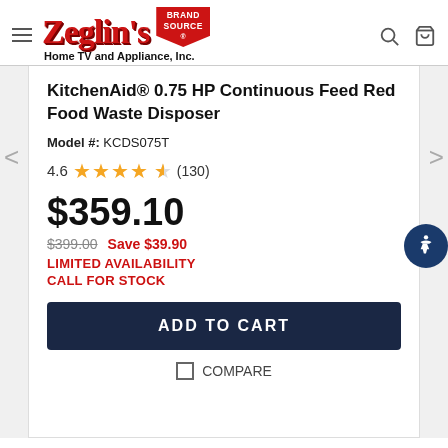[Figure (logo): Zeglin's Brand Source Home TV and Appliance, Inc. logo with red script text and brand source badge]
KitchenAid® 0.75 HP Continuous Feed Red Food Waste Disposer
Model #: KCDS075T
4.6 ★★★★½ (130)
$359.10
$399.00  Save $39.90
LIMITED AVAILABILITY
CALL FOR STOCK
ADD TO CART
COMPARE